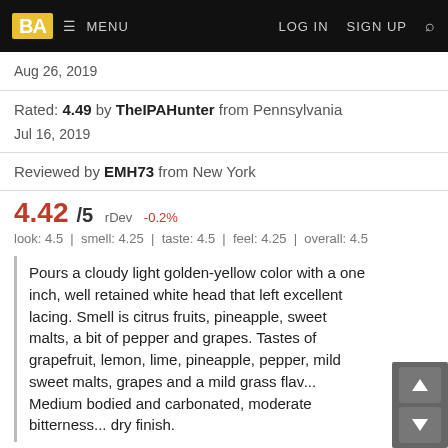BA MENU | LOG IN | SIGN UP | Search
Aug 26, 2019
Rated: 4.49 by TheIPAHunter from Pennsylvania
Jul 16, 2019
Reviewed by EMH73 from New York
4.42/5 rDev -0.2%
look: 4.5 | smell: 4.25 | taste: 4.5 | feel: 4.25 | overall: 4.5
Pours a cloudy light golden-yellow color with a one inch, well retained white head that left excellent lacing. Smell is citrus fruits, pineapple, sweet malts, a bit of pepper and grapes. Tastes of grapefruit, lemon, lime, pineapple, pepper, mild sweet malts, grapes and a mild grass fla... Medium bodied and carbonated, moderate bitterness... dry finish.
Report Ad
[Figure (other): Total Wine advertisement banner — 10% OFF BEER PACKS with pool/summer theme imagery]